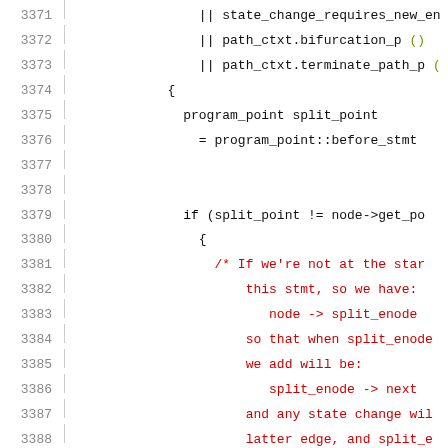[Figure (screenshot): Source code listing showing C++ code lines 3371-3392, with line numbers on the left and code on the right. Code includes conditional expressions with || operators, a block with program_point split_point, an if statement, a block with comments in red and a logger call with green string argument.]